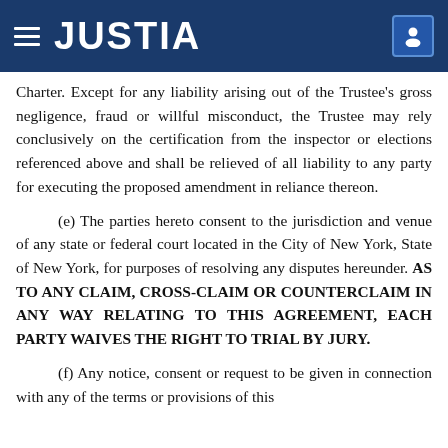JUSTIA
Charter. Except for any liability arising out of the Trustee's gross negligence, fraud or willful misconduct, the Trustee may rely conclusively on the certification from the inspector or elections referenced above and shall be relieved of all liability to any party for executing the proposed amendment in reliance thereon.
(e) The parties hereto consent to the jurisdiction and venue of any state or federal court located in the City of New York, State of New York, for purposes of resolving any disputes hereunder. AS TO ANY CLAIM, CROSS-CLAIM OR COUNTERCLAIM IN ANY WAY RELATING TO THIS AGREEMENT, EACH PARTY WAIVES THE RIGHT TO TRIAL BY JURY.
(f) Any notice, consent or request to be given in connection with any of the terms or provisions of this